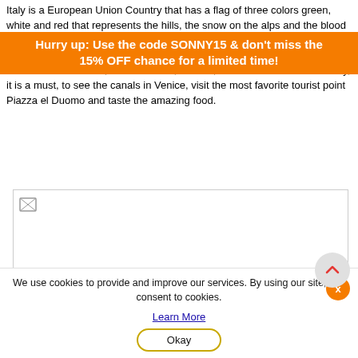Italy is a European Union Country that has a flag of three colors green, white and red that represents the hills, the snow on the alps and the blood from the Italian Independence and unification war. Italy's current currency is Euro and the capital city is Rome. Italy is famous for its amazing historical monuments, delicious food, fashion, and romantic canals. In Italy, it is a must, to see the canals in Venice, visit the most favorite tourist point Piazza el Duomo and taste the amazing food.
[Figure (infographic): Orange advertisement banner overlay with white bold text: 'Hurry up: Use the code SONNY15 & don't miss the 15% OFF chance for a limited time!']
[Figure (photo): A large image placeholder with a broken image icon in the top-left corner, white background with border.]
We use cookies to provide and improve our services. By using our site, you consent to cookies.
Learn More
Okay